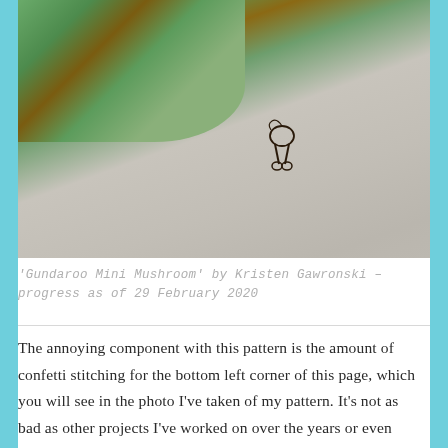[Figure (photo): Close-up photo of a cross-stitch embroidery in progress on white/grey linen fabric, showing partial stitching of a mushroom and grass design in the upper left, with a loop of dark thread and scissors visible in the lower right area of the fabric.]
'Gundaroo Mini Mushroom' by Kristen Gawronski – progress as of 29 February 2020
The annoying component with this pattern is the amount of confetti stitching for the bottom left corner of this page, which you will see in the photo I've taken of my pattern. It's not as bad as other projects I've worked on over the years or even now